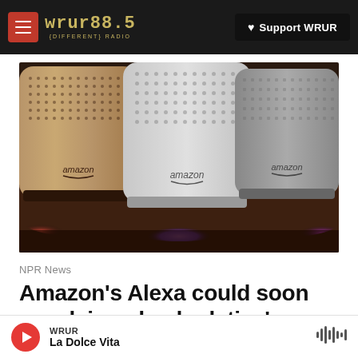WRUR 88.5 {DIFFERENT} RADIO | ♥ Support WRUR
[Figure (photo): Three Amazon Echo smart speakers (wood, white, and gray fabric variants) with glowing colored lights at their bases — red, purple, and pink/magenta — on a dark surface.]
NPR News
Amazon's Alexa could soon speak in a dead relative's
WRUR | La Dolce Vita